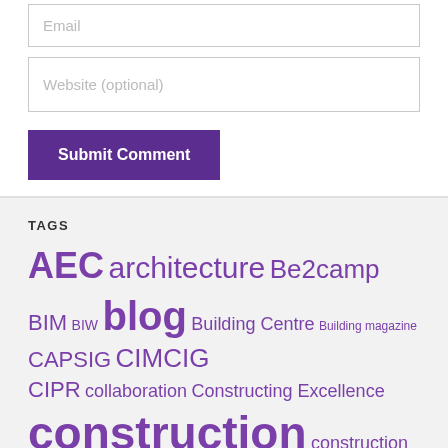[Figure (screenshot): Web form fields: Email input, Website (optional) input, and Submit Comment button]
TAGS
AEC architecture Be2camp BIM BIW blog Building Centre Building magazine CAPSIG CIMCIG CIPR collaboration Constructing Excellence construction construction collaboration technologies Construction News engineering extranets Facebook Flickr Generation Y HOK LinkedIn LipMob London marketing Ning PR